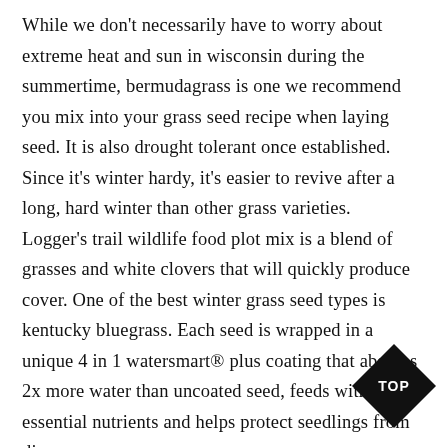While we don't necessarily have to worry about extreme heat and sun in wisconsin during the summertime, bermudagrass is one we recommend you mix into your grass seed recipe when laying seed. It is also drought tolerant once established. Since it's winter hardy, it's easier to revive after a long, hard winter than other grass varieties. Logger's trail wildlife food plot mix is a blend of grasses and white clovers that will quickly produce cover. One of the best winter grass seed types is kentucky bluegrass. Each seed is wrapped in a unique 4 in 1 watersmart® plus coating that absorbs 2x more water than uncoated seed, feeds with essential nutrients and helps protect seedlings from disease. It can tolerate wet conditions as well as dry
[Figure (illustration): Black diamond-shaped badge with 'TOP' text in white, positioned in lower-right corner]